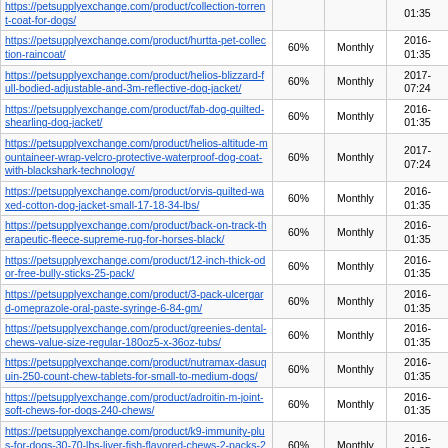| URL | Priority | Change Frequency | Last Modified |
| --- | --- | --- | --- |
| https://petsupplyexchange.com/product/collection-torrent-coat-for-dogs/ |  |  | 01:35 |
| https://petsupplyexchange.com/product/hurtta-pet-collection-raincoat/ | 60% | Monthly | 2016-01:35 |
| https://petsupplyexchange.com/product/helios-blizzard-full-bodied-adjustable-and-3m-reflective-dog-jacket/ | 60% | Monthly | 2017-07:24 |
| https://petsupplyexchange.com/product/fab-dog-quilted-shearling-dog-jacket/ | 60% | Monthly | 2016-01:35 |
| https://petsupplyexchange.com/product/helios-altitude-mountaineer-wrap-velcro-protective-waterproof-dog-coat-with-blackshark-technology/ | 60% | Monthly | 2017-07:24 |
| https://petsupplyexchange.com/product/orvis-quilted-waxed-cotton-dog-jacket-small-17-18-34-lbs/ | 60% | Monthly | 2016-01:35 |
| https://petsupplyexchange.com/product/back-on-track-therapeutic-fleece-supreme-rug-for-horses-black/ | 60% | Monthly | 2016-01:35 |
| https://petsupplyexchange.com/product/12-inch-thick-odor-free-bully-sticks-25-pack/ | 60% | Monthly | 2016-01:35 |
| https://petsupplyexchange.com/product/3-pack-ulcergard-omeprazole-oral-paste-syringe-6-84-gm/ | 60% | Monthly | 2016-01:35 |
| https://petsupplyexchange.com/product/greenies-dental-chews-value-size-regular-180oz5-x-36oz-tubs/ | 60% | Monthly | 2016-01:35 |
| https://petsupplyexchange.com/product/nutramax-dasuquin-250-count-chew-tablets-for-small-to-medium-dogs/ | 60% | Monthly | 2016-01:35 |
| https://petsupplyexchange.com/product/adroitin-m-joint-soft-chews-for-dogs-240-chews/ | 60% | Monthly | 2016-01:35 |
| https://petsupplyexchange.com/product/k9-immunity-plus-for-dogs-30-70-lbs-liver-fish-flavored-chews-2-packs-2x-60-wafers/ | 60% | Monthly | 2016-01:35 |
| https://petsupplyexchange.com/product/value-size-osteo-pet-glucosamine-chondroitin-for-dogs-soft-chews-200ct/ | 60% | Monthly | 2016-01:35 |
| https://petsupplyexchange.com/product/treats-for-chickens-nesting-box-blend-treat-1-pound/ | 60% | Monthly | 2016-01:35 |
| https://petsupplyexchange.com/product/c-e-t-enzymatic- |  |  |  |